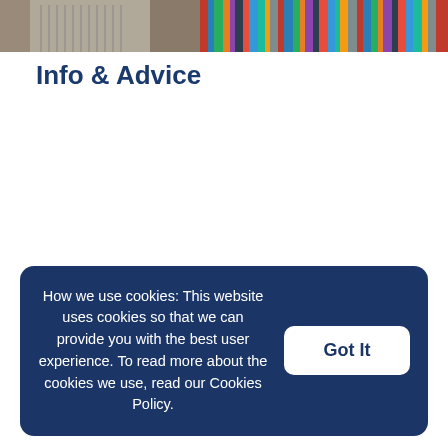[Figure (photo): Photo banner showing a person near bookshelves, cropped at top of page]
Info & Advice
How we use cookies: This website uses cookies so that we can provide you with the best user experience. To read more about the cookies we use, read our Cookies Policy.